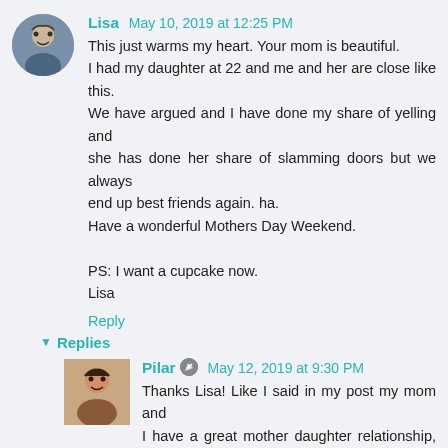Lisa May 10, 2019 at 12:25 PM
This just warms my heart. Your mom is beautiful.
I had my daughter at 22 and me and her are close like this. We have argued and I have done my share of yelling and she has done her share of slamming doors but we always end up best friends again. ha.
Have a wonderful Mothers Day Weekend.

PS: I want a cupcake now.
Lisa
Reply
Replies
Pilar May 12, 2019 at 9:30 PM
Thanks Lisa! Like I said in my post my mom and I have a great mother daughter relationship, but no relationship is perfect lol. We always end up best friends again too! Wishing you a Happy Mother's Day!